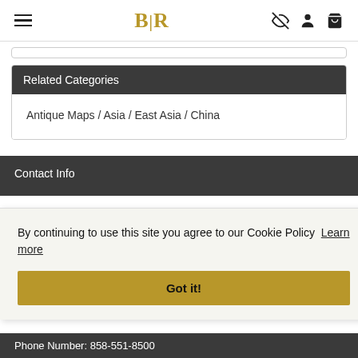BLR [logo with hamburger menu and icons]
Related Categories
Antique Maps / Asia / East Asia / China
Contact Info
By continuing to use this site you agree to our Cookie Policy  Learn more
Got it!
Phone Number: 858-551-8500